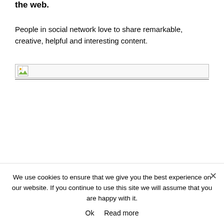the web.
People in social network love to share remarkable, creative, helpful and interesting content.
[Figure (other): Broken/missing image placeholder with small landscape icon in a bordered box]
We use cookies to ensure that we give you the best experience on our website. If you continue to use this site we will assume that you are happy with it.
Ok   Read more